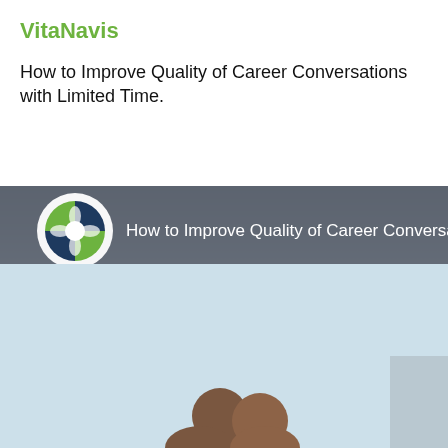VitaNavis
How to Improve Quality of Career Conversations with Limited Time.
[Figure (screenshot): Video thumbnail showing a presentation titled 'How to Improve Quality of Career Conversations' with a VitaNavis circular logo on the left, displayed on a light blue/grey gradient background with a partial silhouette of a person at the bottom.]